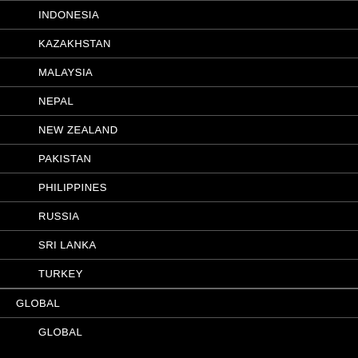INDONESIA
KAZAKHSTAN
MALAYSIA
NEPAL
NEW ZEALAND
PAKISTAN
PHILIPPINES
RUSSIA
SRI LANKA
TURKEY
GLOBAL
GLOBAL